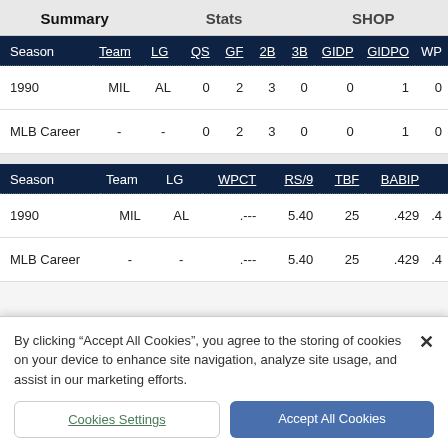Summary   Stats   SHOP
| Season | Team | LG | QS | GF | 2B | 3B | GIDP | GIDPO | WP |
| --- | --- | --- | --- | --- | --- | --- | --- | --- | --- |
| 1990 | MIL | AL | 0 | 2 | 3 | 0 | 0 | 1 | 0 |
| MLB Career | - | - | 0 | 2 | 3 | 0 | 0 | 1 | 0 |
| Season | Team | LG | WPCT | RS/9 | TBF | BABIP |  |
| --- | --- | --- | --- | --- | --- | --- | --- |
| 1990 | MIL | AL | .--- | 5.40 | 25 | .429 | .4 |
| MLB Career | - | - | .--- | 5.40 | 25 | .429 | .4 |
By clicking "Accept All Cookies", you agree to the storing of cookies on your device to enhance site navigation, analyze site usage, and assist in our marketing efforts.
Cookies Settings   Accept All Cookies